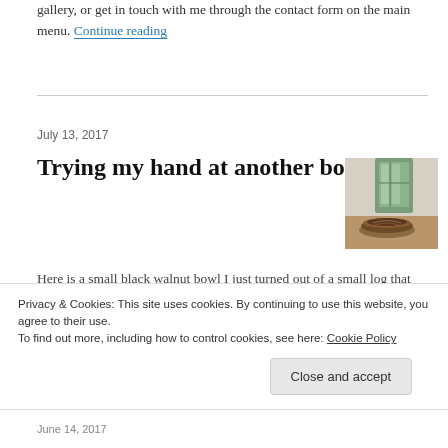gallery, or get in touch with me through the contact form on the main menu. Continue reading
Trying my hand at another bowl
July 13, 2017
[Figure (photo): A small wooden bowl (black walnut) beside a green lantern on a wooden surface]
Here is a small black walnut bowl I just turned out of a small log that was sitting in my shop for a year.  The dark/light color variation comes from the combination of heart and sapwood.
Privacy & Cookies: This site uses cookies. By continuing to use this website, you agree to their use.
To find out more, including how to control cookies, see here: Cookie Policy
Close and accept
June 14, 2017